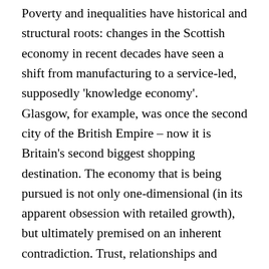Poverty and inequalities have historical and structural roots: changes in the Scottish economy in recent decades have seen a shift from manufacturing to a service-led, supposedly 'knowledge economy'. Glasgow, for example, was once the second city of the British Empire – now it is Britain's second biggest shopping destination. The economy that is being pursued is not only one-dimensional (in its apparent obsession with retailed growth), but ultimately premised on an inherent contradiction. Trust, relationships and reciprocity are undermined by hyper-consumerism, status-driven consumption and individual instant gratification through material acquisition, themselves driven by inequalities. Individuals are implicitly expected to function as just-in-